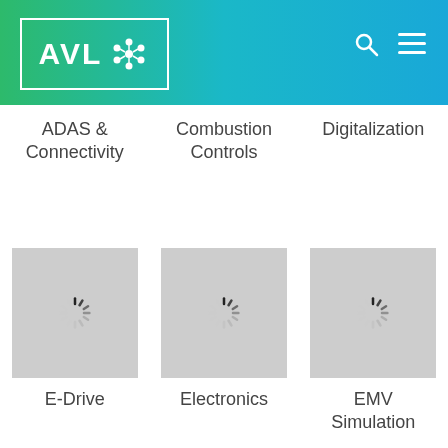[Figure (logo): AVL company logo with stylized snowflake/molecule icon in white on gradient green-to-blue header background]
ADAS & Connectivity
Combustion Controls
Digitalization
[Figure (illustration): Loading spinner icon on grey square background]
[Figure (illustration): Loading spinner icon on grey square background]
[Figure (illustration): Loading spinner icon on grey square background]
E-Drive
Electronics
EMV Simulation